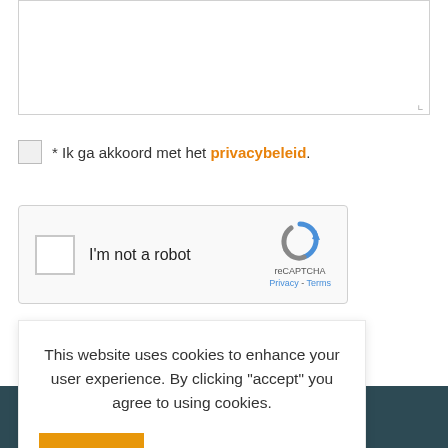* Ik ga akkoord met het privacybeleid.
[Figure (other): reCAPTCHA widget with checkbox labeled I'm not a robot, reCAPTCHA logo, Privacy and Terms links]
This website uses cookies to enhance your user experience. By clicking "accept" you agree to using cookies.
Accept  Cookie settings
Diatexis